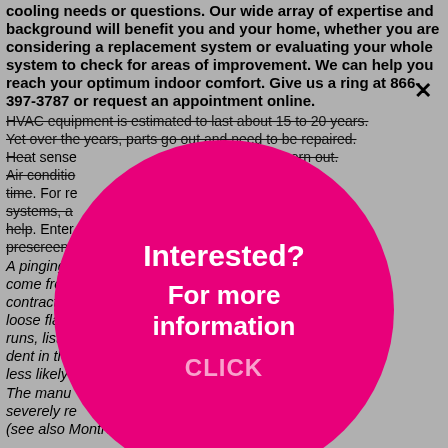cooling needs or questions. Our wide array of expertise and background will benefit you and your home, whether you are considering a replacement system or evaluating your whole system to check for areas of improvement. We can help you reach your optimum indoor comfort. Give us a ring at 866-397-3787 or request an appointment online.
HVAC equipment is estimated to last about 15 to 20 years. Yet over the years, parts go out and need to be repaired. Heat sensors... worn out. Air conditio... time to time. For re... ng systems, a... eAdvisor help. Enter... ith prescreened...
A pinging d... work can come from... nding and contracting... ast a loose flap o... ng the duct runs, listen... a small dent in the... ace that's less likely t...
The manu... ed or severely re... epletion (see also Montreal Protocol).[64][65] In light of these
[Figure (infographic): Pink circular overlay with white text reading 'Interested? For more information' and pink text 'CLICK' on a hot-pink (#e8007a) circle, centered over the page content.]